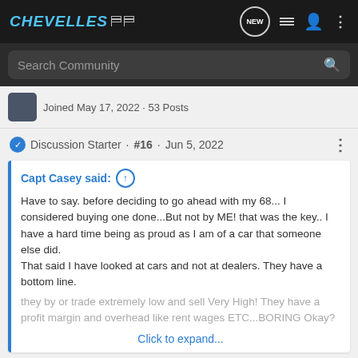CHEVELLES
Search Community
Joined May 17, 2022 · 53 Posts
Discussion Starter · #16 · Jun 5, 2022
Capt Casey said: ↑

Have to say. before deciding to go ahead with my 68... I considered buying one done...But not by ME! that was the key.. I have a hard time being as proud as I am of a car that someone else did.
That said I have looked at cars and not at dealers. They have a bottom line.
they by or trade extremely low and sell Very High! They have a profit margin and overhead like rent wages ETC...BORING Okay?
Click to expand...
Great tip... for detail a... t about